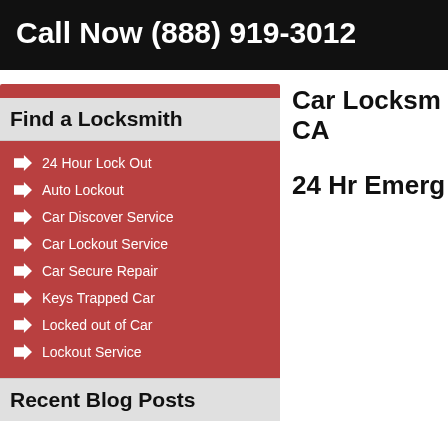Call Now (888) 919-3012
Find a Locksmith
24 Hour Lock Out
Auto Lockout
Car Discover Service
Car Lockout Service
Car Secure Repair
Keys Trapped Car
Locked out of Car
Lockout Service
Recent Blog Posts
Car Locksmith CA
24 Hr Emerg